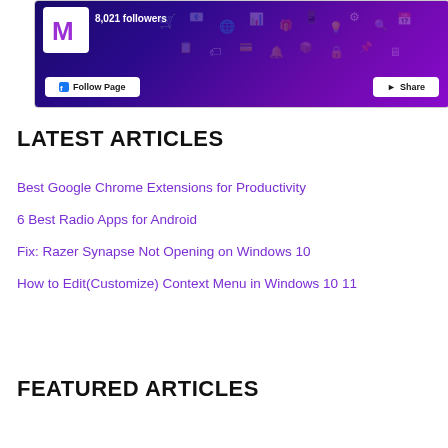[Figure (screenshot): Facebook page widget showing a page with 8,021 followers, Follow Page and Share buttons, with a dark purple/blue gradient background with e-commerce icons]
LATEST ARTICLES
Best Google Chrome Extensions for Productivity
6 Best Radio Apps for Android
Fix: Razer Synapse Not Opening on Windows 10
How to Edit(Customize) Context Menu in Windows 10 11
FEATURED ARTICLES